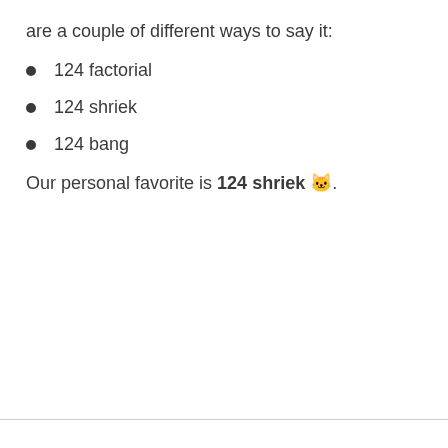are a couple of different ways to say it:
124 factorial
124 shriek
124 bang
Our personal favorite is 124 shriek 🐱.